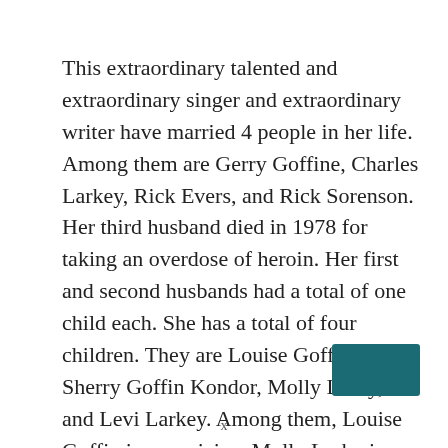This extraordinary talented and extraordinary singer and extraordinary writer have married 4 people in her life. Among them are Gerry Goffine, Charles Larkey, Rick Evers, and Rick Sorenson. Her third husband died in 1978 for taking an overdose of heroin. Her first and second husbands had a total of one child each. She has a total of four children. They are Louise Goffin, Sherry Goffin Kondor, Molly Larky, and Levi Larkey. Among them, Louise Goffin is a musician, Molly Larky is an artist. Then She was involved in politics.
[Figure (other): Teal/dark cyan rectangular button or icon in bottom-right corner]